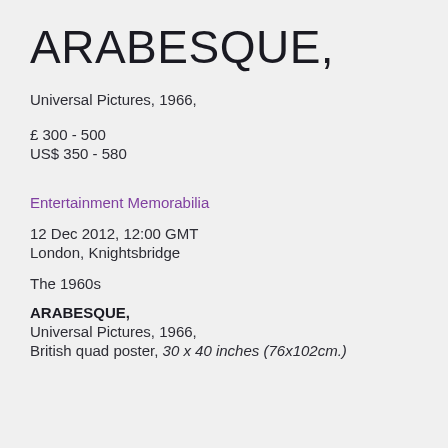ARABESQUE,
Universal Pictures, 1966,
£ 300 - 500
US$ 350 - 580
Entertainment Memorabilia
12 Dec 2012, 12:00 GMT
London, Knightsbridge
The 1960s
ARABESQUE,
Universal Pictures, 1966,
British quad poster, 30 x 40 inches (76x102cm.)